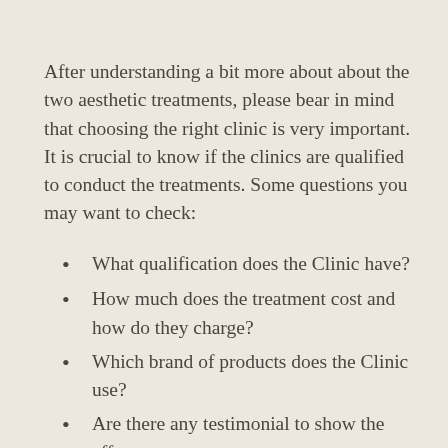After understanding a bit more about about the two aesthetic treatments, please bear in mind that choosing the right clinic is very important. It is crucial to know if the clinics are qualified to conduct the treatments. Some questions you may want to check:
What qualification does the Clinic have?
How much does the treatment cost and how do they charge?
Which brand of products does the Clinic use?
Are there any testimonial to show the effect